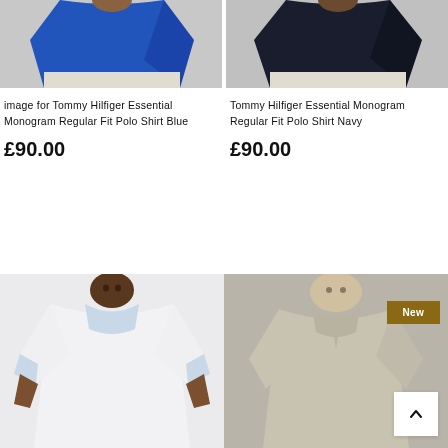[Figure (photo): Tommy Hilfiger Essential Monogram Regular Fit Polo Shirt Blue - model wearing navy/blue polo shirt, cropped at torso]
image for Tommy Hilfiger Essential Monogram Regular Fit Polo Shirt Blue
£90.00
[Figure (photo): Tommy Hilfiger Essential Monogram Regular Fit Polo Shirt Navy - model wearing navy polo shirt, cropped at torso]
Tommy Hilfiger Essential Monogram Regular Fit Polo Shirt Navy
£90.00
[Figure (photo): Man wearing white polo shirt with light blue collar, facing camera]
[Figure (photo): Man wearing beige/stone polo shirt, with New badge overlay and scroll-to-top button]